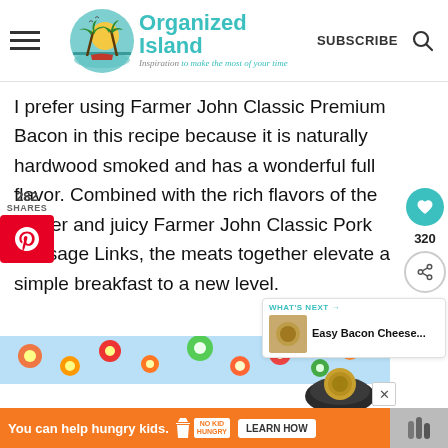Organized Island — Inspiration to make the most of your time | SUBSCRIBE
I prefer using Farmer John Classic Premium Bacon in this recipe because it is naturally hardwood smoked and has a wonderful full flavor. Combined with the rich flavors of the tender and juicy Farmer John Classic Pork Sausage Links, the meats together elevate a simple breakfast to a new level.
[Figure (infographic): Social sharing sidebar left: 282 shares, Pinterest share button (red)]
[Figure (infographic): Social sharing sidebar right: heart icon (teal), 320 count, share icon]
[Figure (infographic): What's Next arrow panel: thumbnail image, WHAT'S NEXT label, Easy Bacon Cheese... title]
[Figure (photo): Bottom partial food photo with floral background]
[Figure (infographic): Ad banner: You can help hungry kids. No Kid Hungry logo. LEARN HOW button. Close X button.]